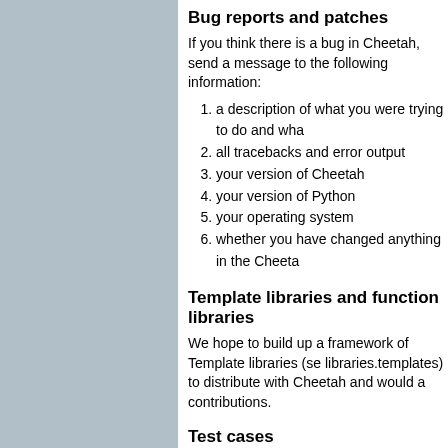Bug reports and patches
If you think there is a bug in Cheetah, send a message to the following information:
a description of what you were trying to do and wha
all tracebacks and error output
your version of Cheetah
your version of Python
your operating system
whether you have changed anything in the Cheeta
Template libraries and function libraries
We hope to build up a framework of Template libraries (se libraries.templates) to distribute with Cheetah and would a contributions.
Test cases
Cheetah is packaged with a regression testing suite that i new release to ensure that everything is working as expec recent changes haven't broken anything. The test cases a Cheetah.Tests module. If you find a reproduceable bug pl writing a test case that will pass only when the bug is fixe